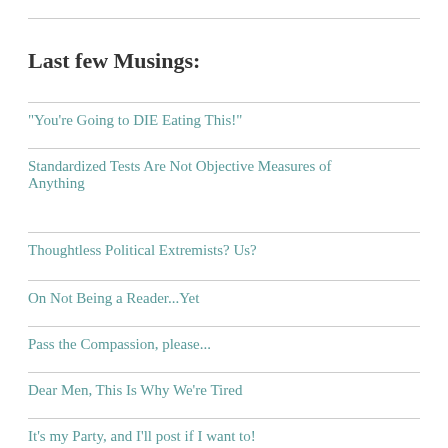Last few Musings:
"You’re Going to DIE Eating This!"
Standardized Tests Are Not Objective Measures of Anything
Thoughtless Political Extremists? Us?
On Not Being a Reader...Yet
Pass the Compassion, please...
Dear Men, This Is Why We’re Tired
It’s my Party, and I’ll post if I want to!